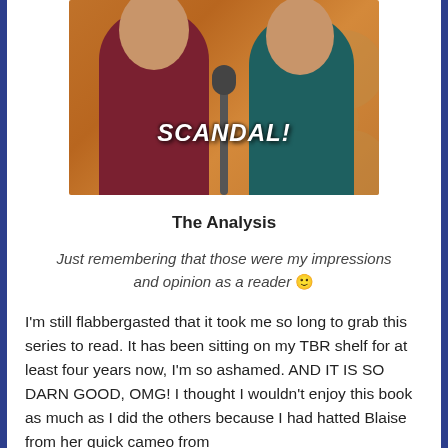[Figure (photo): Two women at a podium/microphone at what appears to be an awards show with golden circle decorations in background. Bold italic white text 'SCANDAL!' overlaid on the image.]
The Analysis
Just remembering that those were my impressions and opinion as a reader 🙂
I'm still flabbergasted that it took me so long to grab this series to read. It has been sitting on my TBR shelf for at least four years now, I'm so ashamed. AND IT IS SO DARN GOOD, OMG! I thought I wouldn't enjoy this book as much as I did the others because I had hatted Blaise from her quick cameo from